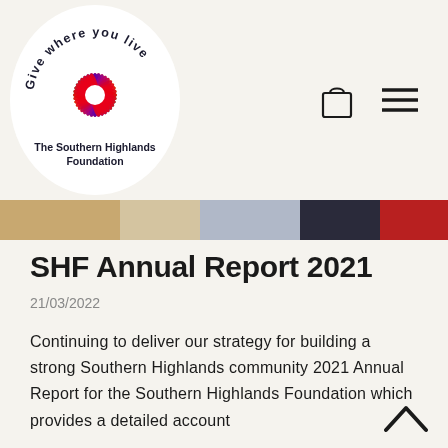[Figure (logo): The Southern Highlands Foundation circular logo with colorful sunburst and text 'Give where you live' around the circle, with organization name below]
SHF Annual Report 2021
21/03/2022
Continuing to deliver our strategy for building a strong Southern Highlands community 2021 Annual Report for the Southern Highlands Foundation which provides a detailed account